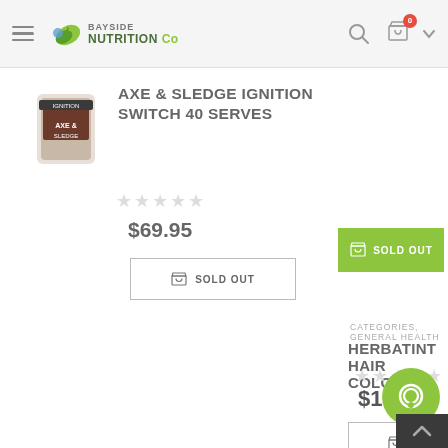Bayside Nutrition Co
AXE & SLEDGE IGNITION SWITCH 40 SERVES
[Figure (photo): Product image of Axe & Sledge supplement container]
SOLD OUT (green button)
☆☆☆☆☆
$69.95
SOLD OUT (outline button)
[Figure (photo): Green Herbatint Hair Colour product box showing 150ml, no ammonia, resorcinol, parabens, alcohol, fragrance]
CATEGORIES, GENERAL HEALTH
HERBATINT HAIR COLOUR
☆☆☆☆☆
$19.95
ADD TO CART